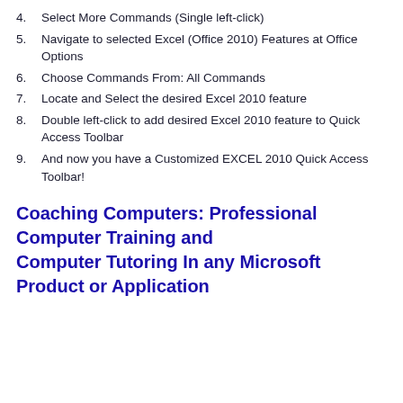4. Select More Commands (Single left-click)
5. Navigate to selected Excel (Office 2010) Features at Office Options
6. Choose Commands From: All Commands
7. Locate and Select the desired Excel 2010 feature
8. Double left-click to add desired Excel 2010 feature to Quick Access Toolbar
9. And now you have a Customized EXCEL 2010 Quick Access Toolbar!
Coaching Computers: Professional Computer Training and Computer Tutoring In any Microsoft Product or Application